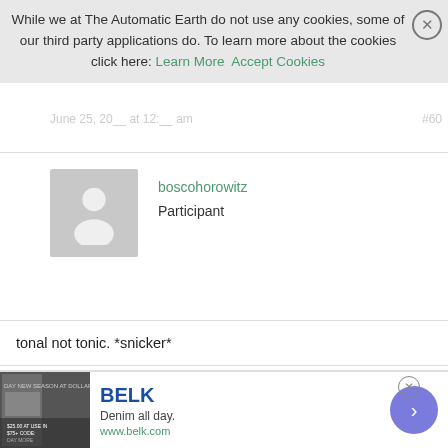While we at The Automatic Earth do not use any cookies, some of our third party applications do. To learn more about the cookies click here: Learn More  Accept Cookies
boscohorowitz
Participant
tonal not tonic. *snicker*
June 25, 2020 at 12:33 am  #60413
thomasjkenney
Participant
@bosco re: Spaniard, yes, Catalan at that, and I finally found liner
BELK
Denim all day.
www.belk.com